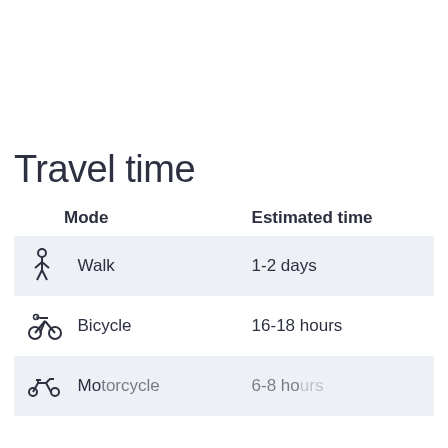Travel time
| Mode | Estimated time |
| --- | --- |
| Walk | 1-2 days |
| Bicycle | 16-18 hours |
| Motorcycle | 6-8 hours |